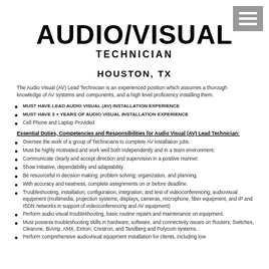AUDIO/VISUAL TECHNICIAN
HOUSTON, TX
The Audio Visual (AV) Lead Technician is an experienced position which assumes a thorough knowledge of AV systems and components, and a high level proficiency installing them.
MUST HAVE LEAD AUDIO VISUAL (AV) INSTALLATION EXPERIENCE
MUST HAVE 3 + YEARS OF AUDIO VISUAL INSTALLATION EXPERIENCE
Cell Phone and Laptop Provided
Essential Duties, Competencies and Responsibilities for Audio Visual (AV) Lead Technician:
Oversee the work of a group of Technicians to complete AV installation jobs.
Must be highly motivated and work well both independently and in a team environment.
Communicate clearly and accept direction and supervision in a positive manner.
Show initiative, dependability and adaptability.
Be resourceful in decision making; problem solving; organization, and planning.
With accuracy and neatness, complete assignments on or before deadline.
Troubleshooting, installation, configuration, integration, and test of videoconferencing, audiovisual equipment (multimedia, projection systems, displays, cameras, microphone, fiber equipment, and IP and ISDN networks in support of videoconferencing and AV equipment)
Perform audio visual troubleshooting, basic routine repairs and maintenance on equipment.
Must possess troubleshooting skills in hardware, software, and connectivity issues on Routers, Switches, Clearone, BiAmp, AMX, Extron, Crestron, and Tandberg and Polycom systems.
Perform comprehensive audiovisual equipment installation for clients, including low